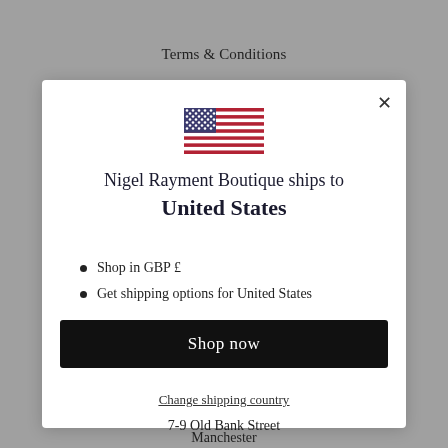Terms & Conditions
[Figure (illustration): US flag emoji/icon]
Nigel Rayment Boutique ships to United States
Shop in GBP £
Get shipping options for United States
Shop now
Change shipping country
7-9 Old Bank Street
Manchester